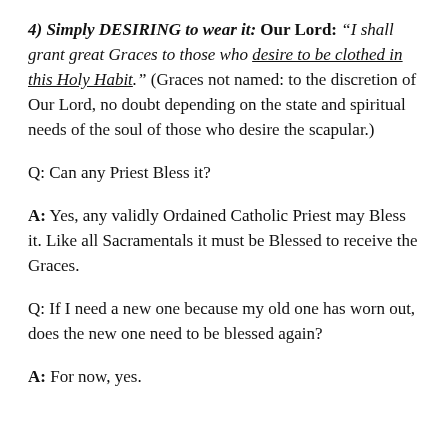4) Simply DESIRING to wear it: Our Lord: “I shall grant great Graces to those who desire to be clothed in this Holy Habit.” (Graces not named: to the discretion of Our Lord, no doubt depending on the state and spiritual needs of the soul of those who desire the scapular.)
Q: Can any Priest Bless it?
A: Yes, any validly Ordained Catholic Priest may Bless it. Like all Sacramentals it must be Blessed to receive the Graces.
Q: If I need a new one because my old one has worn out, does the new one need to be blessed again?
A: For now, yes.